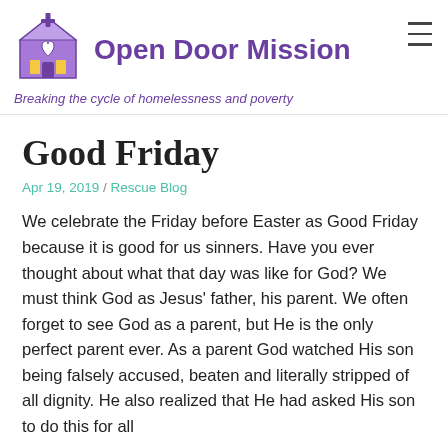[Figure (logo): Open Door Mission logo: purple church building with heart, cross on top, yellow windows]
Open Door Mission
Breaking the cycle of homelessness and poverty
Good Friday
Apr 19, 2019 / Rescue Blog
We celebrate the Friday before Easter as Good Friday because it is good for us sinners. Have you ever thought about what that day was like for God? We must think God as Jesus' father, his parent. We often forget to see God as a parent, but He is the only perfect parent ever. As a parent God watched His son being falsely accused, beaten and literally stripped of all dignity. He also realized that He had asked His son to do this for all